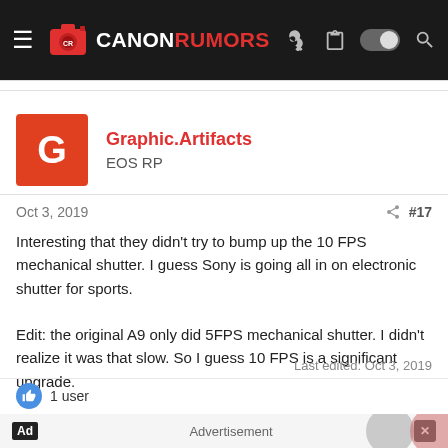[Figure (logo): Canon Rumors website navigation bar with hamburger menu, Canon Rumors logo, and right-side icons]
Graphic.Artifacts
EOS RP
Oct 3, 2019
#17
Interesting that they didn't try to bump up the 10 FPS mechanical shutter. I guess Sony is going all in on electronic shutter for sports.

Edit: the original A9 only did 5FPS mechanical shutter. I didn't realize it was that slow. So I guess 10 FPS is a significant upgrade.
Last edited: Oct 3, 2019
1 user
Advertisement
AlanF